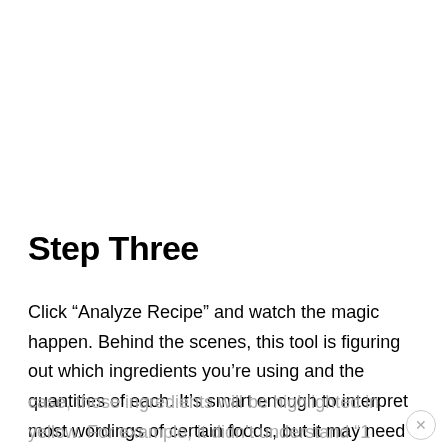Step Three
Click “Analyze Recipe” and watch the magic happen. Behind the scenes, this tool is figuring out which ingredients you’re using and the quantities of each. It’s smart enough to interpret most wordings of certain foods, but it may need additional clarification on some ingredients. If that’s the case, those ingredients will be highlighted in yellow. For example, it didn’t understand “1 lemon (juice)” but by